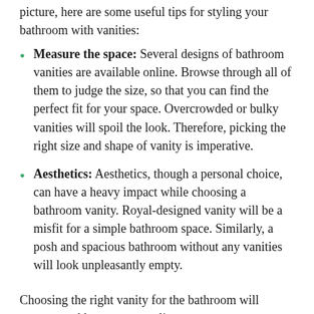picture, here are some useful tips for styling your bathroom with vanities:
Measure the space: Several designs of bathroom vanities are available online. Browse through all of them to judge the size, so that you can find the perfect fit for your space. Overcrowded or bulky vanities will spoil the look. Therefore, picking the right size and shape of vanity is imperative.
Aesthetics: Aesthetics, though a personal choice, can have a heavy impact while choosing a bathroom vanity. Royal-designed vanity will be a misfit for a simple bathroom space. Similarly, a posh and spacious bathroom without any vanities will look unpleasantly empty.
Choosing the right vanity for the bathroom will ensure to add some personality to your space.